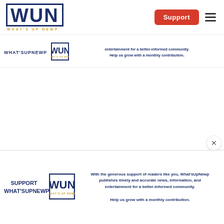[Figure (logo): WUN What's Up Newp logo in top navigation bar]
Support
[Figure (logo): WUN What's Up Newp small logo in mid banner]
WHAT'SUPNEWP
entertainment for a better-informed community. Help us grow with a monthly contribution.
[Figure (other): Ad info (?) and close (x) controls]
SUPPORT WHAT'SUPNEWP
[Figure (logo): WUN What's Up Newp logo in bottom support banner]
With the generous support of readers like you, What'sUpNewp publishes timely and accurate news, information, and entertainment for a better-informed community. Help us grow with a monthly contribution.